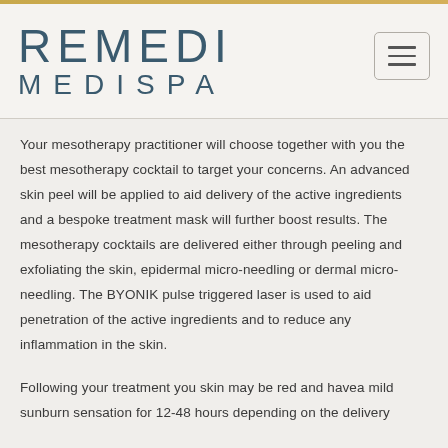[Figure (logo): Remedi Medispa logo with hamburger menu button]
Your mesotherapy practitioner will choose together with you the best mesotherapy cocktail to target your concerns. An advanced skin peel will be applied to aid delivery of the active ingredients and a bespoke treatment mask will further boost results. The mesotherapy cocktails are delivered either through peeling and exfoliating the skin, epidermal micro-needling or dermal micro-needling. The BYONIK pulse triggered laser is used to aid penetration of the active ingredients and to reduce any inflammation in the skin.
Following your treatment you skin may be red and havea mild sunburn sensation for 12-48 hours depending on the delivery